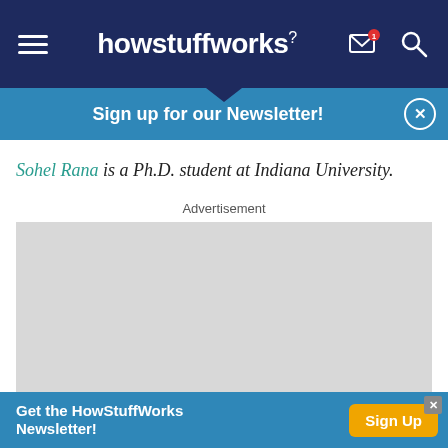howstuffworks
Sign up for our Newsletter!
Sohel Rana is a Ph.D. student at Indiana University.
Advertisement
[Figure (other): Gray advertisement placeholder rectangle]
Get the HowStuffWorks Newsletter! Sign Up